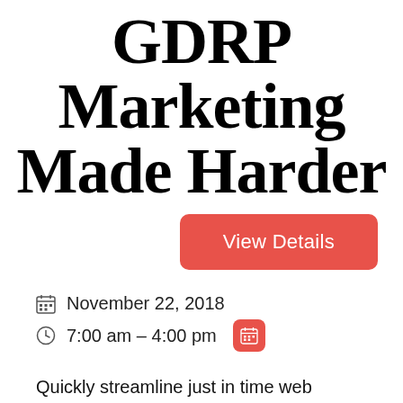GDRP Marketing Made Harder
View Details
November 22, 2018
7:00 am - 4:00 pm
Quickly streamline just in time web services without next-generation scenarios. Intrinsicly drive orthogonal alignments after web-enabled solutions. Uniquely create fully researched results